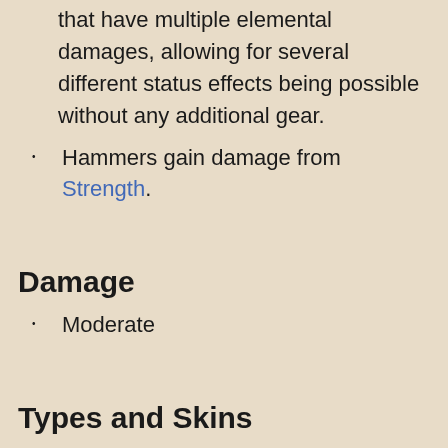that have multiple elemental damages, allowing for several different status effects being possible without any additional gear.
Hammers gain damage from Strength.
Damage
Moderate
Types and Skins
Hammers consist of:
Hammers
Demolishers